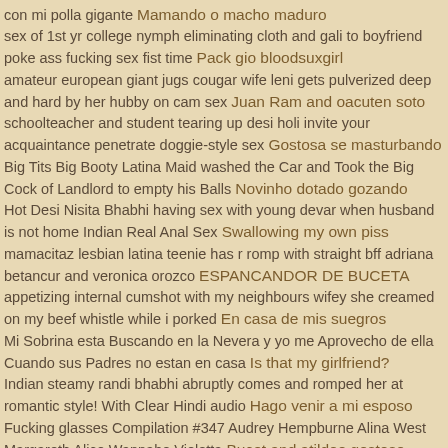con mi polla gigante Mamando o macho maduro sex of 1st yr college nymph eliminating cloth and gali to boyfriend poke ass fucking sex fist time Pack gio bloodsuxgirl amateur european giant jugs cougar wife leni gets pulverized deep and hard by her hubby on cam sex Juan Ram and oacuten soto schoolteacher and student tearing up desi holi invite your acquaintance penetrate doggie-style sex Gostosa se masturbando Big Tits Big Booty Latina Maid washed the Car and Took the Big Cock of Landlord to empty his Balls Novinho dotado gozando Hot Desi Nisita Bhabhi having sex with young devar when husband is not home Indian Real Anal Sex Swallowing my own piss mamacitaz lesbian latina teenie has r romp with straight bff adriana betancur and veronica orozco ESPANCANDOR DE BUCETA appetizing internal cumshot with my neighbours wifey she creamed on my beef whistle while i porked En casa de mis suegros Mi Sobrina esta Buscando en la Nevera y yo me Aprovecho de ella Cuando sus Padres no estan en casa Is that my girlfriend? Indian steamy randi bhabhi abruptly comes and romped her at romantic style! With Clear Hindi audio Hago venir a mi esposo Fucking glasses Compilation #347 Audrey Hempburne Alina West Margareth Alice Wannabe Violetta Bucet and atildeo gostoso Two college girls are much finer than one Russian Teens Hard and Rough Threesome Group Sex at Home Nique Thick Ass Part 2